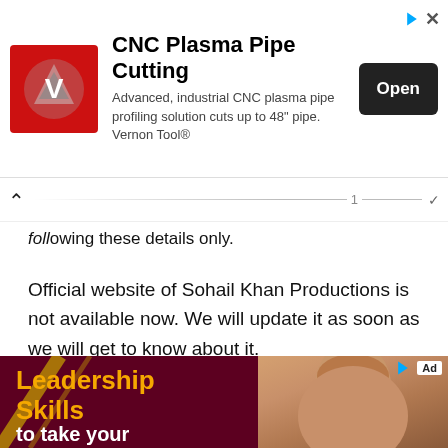[Figure (other): Top advertisement banner for CNC Plasma Pipe Cutting by Vernon Tool. Contains logo (red square with metallic V symbol), title text, description, and Open button.]
...following these details only.
Official website of Sohail Khan Productions is not available now. We will update it as soon as we will get to know about it.
[Figure (other): Bottom advertisement banner showing Leadership Skills with a photo of a smiling woman on dark red background with gold text.]